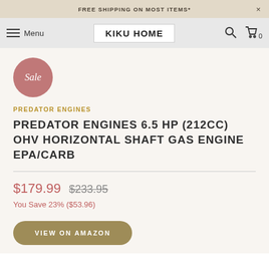FREE SHIPPING ON MOST ITEMS*
KIKU HOME  Menu
Sale
PREDATOR ENGINES
PREDATOR ENGINES 6.5 HP (212CC) OHV HORIZONTAL SHAFT GAS ENGINE EPA/CARB
$179.99  $233.95  You Save 23% ($53.96)
VIEW ON AMAZON